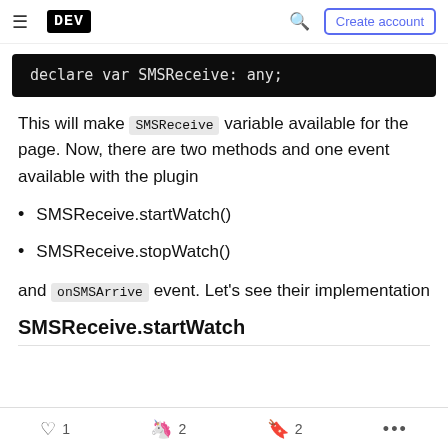DEV — Create account
This will make SMSReceive variable available for the page. Now, there are two methods and one event available with the plugin
SMSReceive.startWatch()
SMSReceive.stopWatch()
and onSMSArrive event. Let's see their implementation
SMSReceive.startWatch
1  2  2  ...